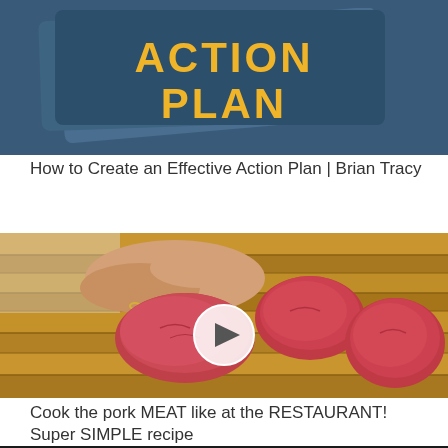[Figure (photo): Partial view of an 'Action Plan' graphic with yellow text on dark blue background with notebook/folder imagery]
How to Create an Effective Action Plan | Brian Tracy
[Figure (photo): Hands pressing raw pork meat pieces on a wooden cutting board, with a circular play button overlay indicating a video thumbnail]
Cook the pork MEAT like at the RESTAURANT! Super SIMPLE recipe
[Figure (photo): Bottom edge of a third video thumbnail, dark/black image partially visible]